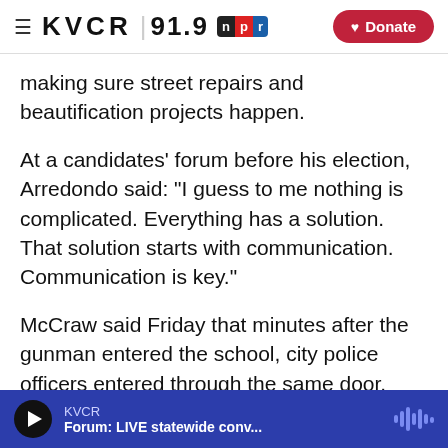KVCR 91.9 npr | Donate
making sure street repairs and beautification projects happen.
At a candidates' forum before his election, Arredondo said: "I guess to me nothing is complicated. Everything has a solution. That solution starts with communication. Communication is key."
McCraw said Friday that minutes after the gunman entered the school, city police officers entered through the same door. Over the course of more than an hour, law enforcement from multiple
KVCR | Forum: LIVE statewide conv...